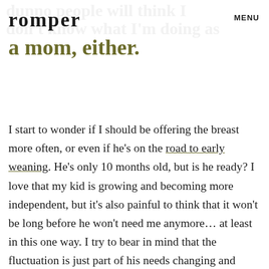romper   MENU
a mom, either.
I start to wonder if I should be offering the breast more often, or even if he's on the road to early weaning. He's only 10 months old, but is he ready? I love that my kid is growing and becoming more independent, but it's also painful to think that it won't be long before he won't need me anymore... at least in this one way. I try to bear in mind that the fluctuation is just part of his needs changing and evolving, but it isn't always easy. Like, for example, when I'm sitting there leaking milk wondering when the heck this baby is going to fit me